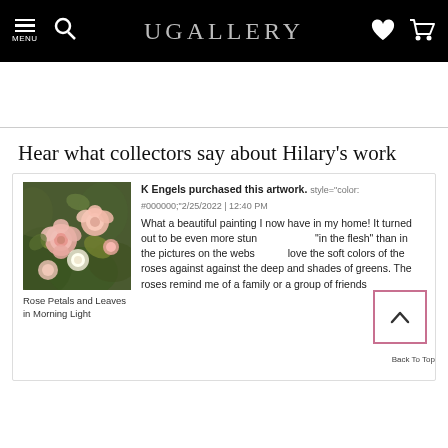UGALLERY
Hear what collectors say about Hilary's work
[Figure (screenshot): Screenshot of a UGallery website review page showing a painting of roses titled 'Rose Petals and Leaves in Morning Light' with a collector review from K Engels.]
K Engels purchased this artwork. style="color: #000000;"2/25/2022 | 12:40 PM
What a beautiful painting I now have in my home! It turned out to be even more stun[ning] "in the flesh" than in the pictures on the webs[ite]. I love the soft colors of the roses against against the deep and shades of greens. The roses remind me of a family or a group of friends
Rose Petals and Leaves in Morning Light